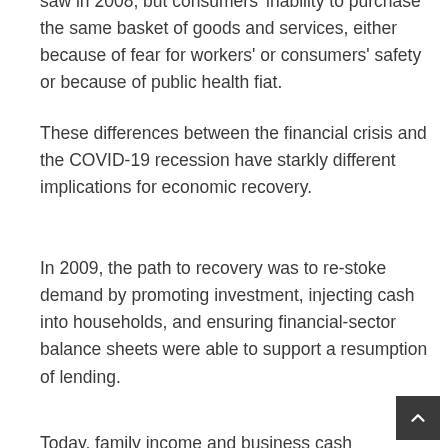saw in 2008, but consumers' inability to purchase the same basket of goods and services, either because of fear for workers' or consumers' safety or because of public health fiat.
These differences between the financial crisis and the COVID-19 recession have starkly different implications for economic recovery.
In 2009, the path to recovery was to re-stoke demand by promoting investment, injecting cash into households, and ensuring financial-sector balance sheets were able to support a resumption of lending.
Today, family income and business cash supports are necessary to keep the economic engine